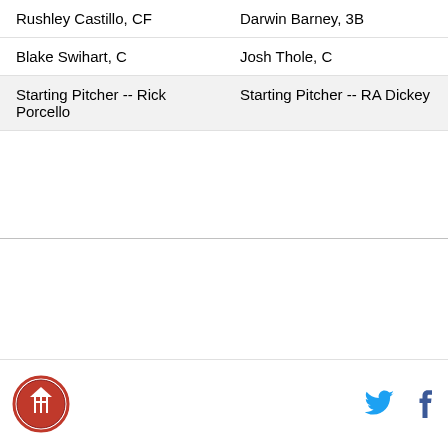| Rushley Castillo, CF | Darwin Barney, 3B |
| Blake Swihart, C | Josh Thole, C |
| Starting Pitcher -- Rick Porcello | Starting Pitcher -- RA Dickey |
Logo | Twitter | Facebook